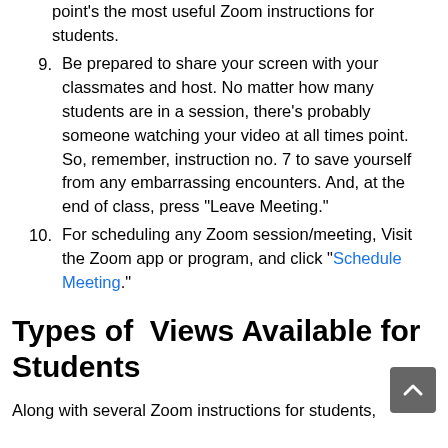point's the most useful Zoom instructions for students.
9. Be prepared to share your screen with your classmates and host. No matter how many students are in a session, there’s probably someone watching your video at all times point. So, remember, instruction no. 7 to save yourself from any embarrassing encounters. And, at the end of class, press “Leave Meeting.”
10. For scheduling any Zoom session/meeting, Visit the Zoom app or program, and click “Schedule Meeting.”
Types of  Views Available for Students
Along with several Zoom instructions for students,